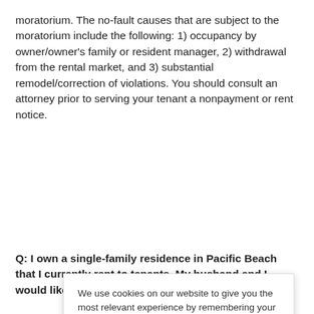moratorium. The no-fault causes that are subject to the moratorium include the following: 1) occupancy by owner/owner's family or resident manager, 2) withdrawal from the rental market, and 3) substantial remodel/correction of violations. You should consult an attorney prior to serving your tenant a nonpayment or rent notice.
Q: I own a single-family residence in Pacific Beach that I currently rent to tenants. My husband and I would like to
We use cookies on our website to give you the most relevant experience by remembering your preferences and repeat visits. By clicking "Accept", you consent to the use of ALL the cookies.
Do not sell my personal information.
Cookie settings   ACCEPT
[Figure (logo): TrustedSite badge with green checkmark]